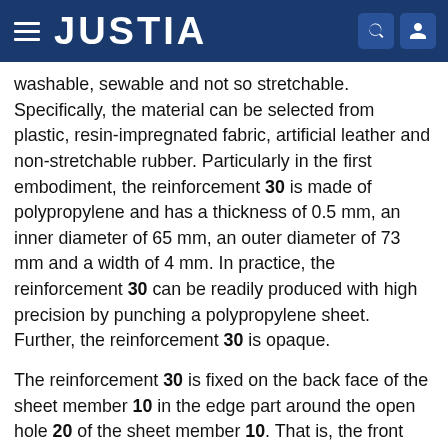JUSTIA
washable, sewable and not so stretchable. Specifically, the material can be selected from plastic, resin-impregnated fabric, artificial leather and non-stretchable rubber. Particularly in the first embodiment, the reinforcement 30 is made of polypropylene and has a thickness of 0.5 mm, an inner diameter of 65 mm, an outer diameter of 73 mm and a width of 4 mm. In practice, the reinforcement 30 can be readily produced with high precision by punching a polypropylene sheet. Further, the reinforcement 30 is opaque.
The reinforcement 30 is fixed on the back face of the sheet member 10 in the edge part around the open hole 20 of the sheet member 10. That is, the front face of the reinforcement 30 is fixed on the edge part around the open hole 20 of the sheet member 10. Specifically, the reinforcement 30 is fixed on the sheet member 10 by